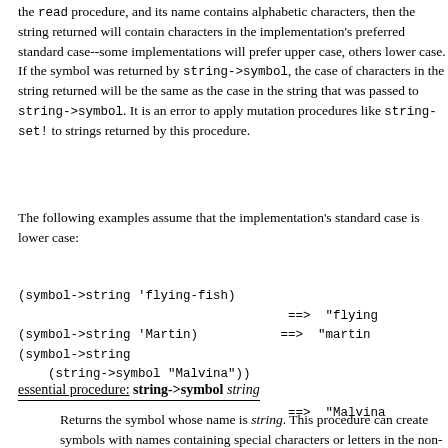the read procedure, and its name contains alphabetic characters, then the string returned will contain characters in the implementation's preferred standard case--some implementations will prefer upper case, others lower case. If the symbol was returned by string->symbol, the case of characters in the string returned will be the same as the case in the string that was passed to string->symbol. It is an error to apply mutation procedures like string-set! to strings returned by this procedure.
The following examples assume that the implementation's standard case is lower case:
(symbol->string 'flying-fish)
                                    ==>  "flying
(symbol->string 'Martin)            ==>  "martin
(symbol->string
    (string->symbol "Malvina"))
                                    ==>  "Malvina
essential procedure: string->symbol string
Returns the symbol whose name is string. This procedure can create symbols with names containing special characters or letters in the non-standard case, but it is usually a bad idea to create such symbols because in some implementations of